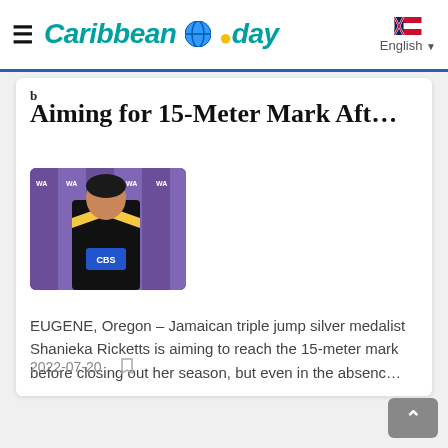Caribbean Today — English
Aiming for 15-Meter Mark Aft…
[Figure (photo): Jamaican triple jump athlete Shanieka Ricketts in a yellow and black outfit at a World Athletics Championships backdrop]
EUGENE, Oregon – Jamaican triple jump silver medalist Shanieka Ricketts is aiming to reach the 15-meter mark before closing out her season, but even in the absenc…
2022-07-20